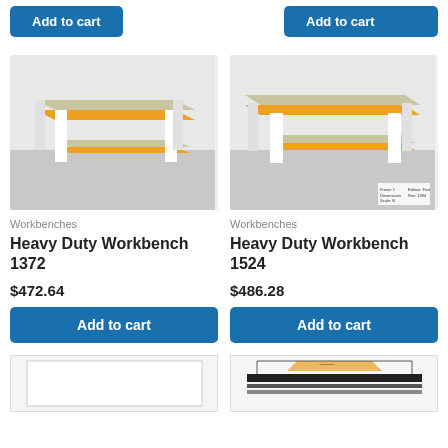[Figure (other): Add to cart button (blue, left column, top)]
[Figure (other): Add to cart button (blue, right column, top, partially visible)]
[Figure (photo): 3D rendering of Heavy Duty Workbench 1372 - orange and beige two-tier workbench with white legs on grey floor]
Workbenches
Heavy Duty Workbench 1372
$472.64
[Figure (other): Add to cart button for Heavy Duty Workbench 1372]
[Figure (photo): 3D rendering of Heavy Duty Workbench 1524 - orange and beige two-tier workbench with white legs on grey floor, slightly different angle]
Workbenches
Heavy Duty Workbench 1524
$486.28
[Figure (other): Add to cart button for Heavy Duty Workbench 1524]
[Figure (other): Bottom left product image (partially visible)]
[Figure (other): Bottom right product image (partially visible, technical/engineering diagram style)]